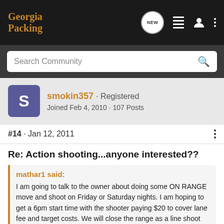Georgia Packing
Search Community
smokin357 · Registered
Joined Feb 4, 2010 · 107 Posts
#14 · Jan 12, 2011
Re: Action shooting...anyone interested??
mathar1 said:
I am going to talk to the owner about doing some ON RANGE move and shoot on Friday or Saturday nights. I am hoping to get a 6pm start time with the shooter paying $20 to cover lane fee and target costs. We will close the range as a line shoot and open it up to do shooting
[Figure (photo): Advertisement banner for Kel-Tec CP33 pistol with text SEEKING LONG RANGE RELATIONSHIP]
I chose... ff and